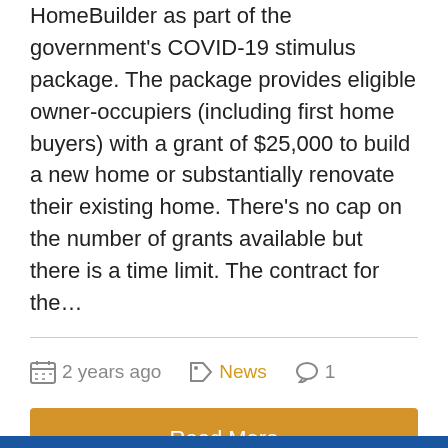HomeBuilder as part of the government's COVID-19 stimulus package. The package provides eligible owner-occupiers (including first home buyers) with a grant of $25,000 to build a new home or substantially renovate their existing home. There's no cap on the number of grants available but there is a time limit. The contract for the...
2 years ago  News  1
Read More